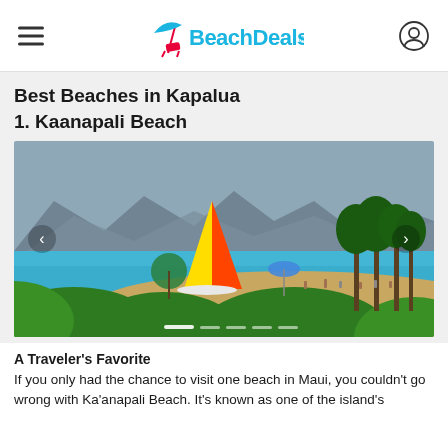BeachDeals
Best Beaches in Kapalua
1. Kaanapali Beach
[Figure (photo): Beach photo of Kaanapali Beach in Maui showing a colorful sailboat with yellow and orange sail on calm blue water, sandy beach with people, green tropical plants in foreground, mountains in background, with carousel navigation arrows and dot indicators]
A Traveler's Favorite
If you only had the chance to visit one beach in Maui, you couldn't go wrong with Ka'anapali Beach. It's known as one of the island's